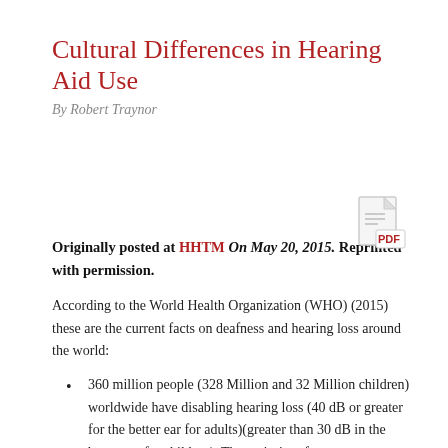Cultural Differences in Hearing Aid Use
By Robert Traynor
[Figure (other): PDF icon — a document icon with lines and 'PDF' label in red]
Originally posted at HHTM On May 20, 2015. Reprinted with permission.
According to the World Health Organization (WHO) (2015) these are the current facts on deafness and hearing loss around the world:
360 million people (328 Million and 32 Million children) worldwide have disabling hearing loss (40 dB or greater for the better ear for adults)(greater than 30 dB in the better ear for children). The majority of